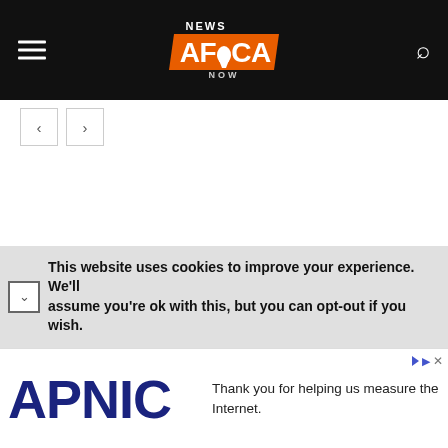News Africa Now
[Figure (logo): News Africa Now logo — orange parallelogram with white text 'NEWS AFRICA NOW' and Africa continent silhouette replacing the 'I' in Africa]
< >
- Advertisement -
This website uses cookies to improve your experience. We'll assume you're ok with this, but you can opt-out if you wish.
Thank you for helping us measure the Internet.
[Figure (logo): APNIC logo in large dark navy blue bold text]